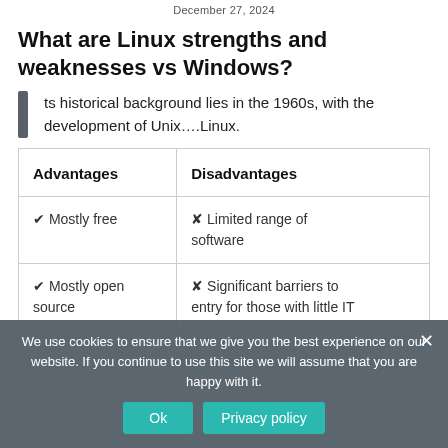December 27, 2024
What are Linux strengths and weaknesses vs Windows?
ts historical background lies in the 1960s, with the development of Unix….Linux.
| Advantages | Disadvantages |
| --- | --- |
| ✔ Mostly free | ✘ Limited range of software |
| ✔ Mostly open source | ✘ Significant barriers to entry for those with little IT |
We use cookies to ensure that we give you the best experience on our website. If you continue to use this site we will assume that you are happy with it.